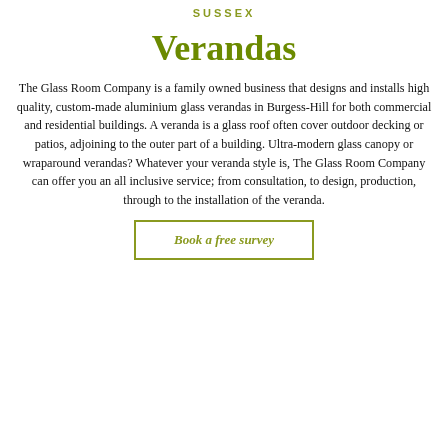SUSSEX
Verandas
The Glass Room Company is a family owned business that designs and installs high quality, custom-made aluminium glass verandas in Burgess-Hill for both commercial and residential buildings. A veranda is a glass roof often cover outdoor decking or patios, adjoining to the outer part of a building. Ultra-modern glass canopy or wraparound verandas? Whatever your veranda style is, The Glass Room Company can offer you an all inclusive service; from consultation, to design, production, through to the installation of the veranda.
Book a free survey